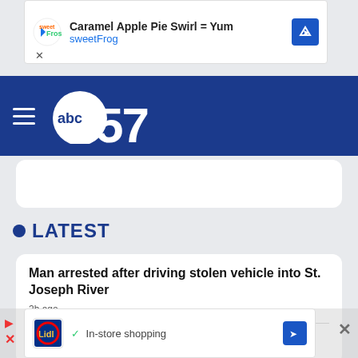[Figure (screenshot): Advertisement banner for sweetFrog: 'Caramel Apple Pie Swirl = Yum / sweetFrog' with logo and navigation arrow icon]
abc57 navigation bar with hamburger menu and abc57 logo
• LATEST
Man arrested after driving stolen vehicle into St. Joseph River
2h ago
Elkhart businesses team up to support local organizations in clothing drive
[Figure (screenshot): Advertisement banner for Lidl: '✓ In-store shopping' with Lidl logo and navigation arrow icon]